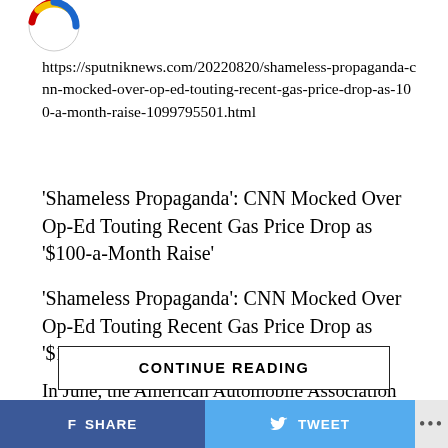[Figure (logo): Sputnik International logo - circular emblem with red, yellow, and blue colors]
https://sputniknews.com/20220820/shameless-propaganda-cnn-mocked-over-op-ed-touting-recent-gas-price-drop-as-100-a-month-raise-1099795501.html
‘Shameless Propaganda’: CNN Mocked Over Op-Ed Touting Recent Gas Price Drop as ‘$100-a-Month Raise’
‘Shameless Propaganda’: CNN Mocked Over Op-Ed Touting Recent Gas Price Drop as ‘$100-a-Month Raise’
In June, the American Automobile Association announced that the national average price of a gallon of gasoline in the US had officially more than doubled under... 20.08.2022, Sputnik International
CONTINUE READING
SHARE   TWEET   ...